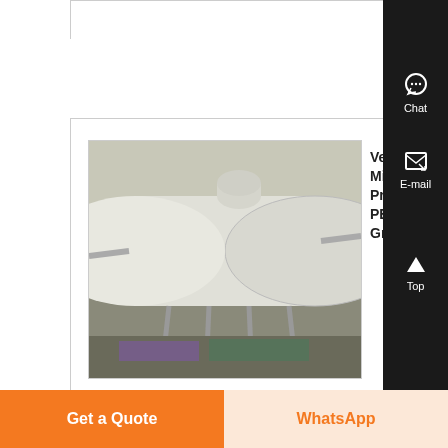[Figure (photo): Industrial vertical mill tank/cylinder equipment, white colored, photographed in an indoor industrial setting]
Vertical Mill Project | PENGFEI Group
Our customers such as China Steel Corporation (India) and Columbian Cement Plant make use of vertical mill that
Chat
E-mail
Top
Get a Quote
WhatsApp